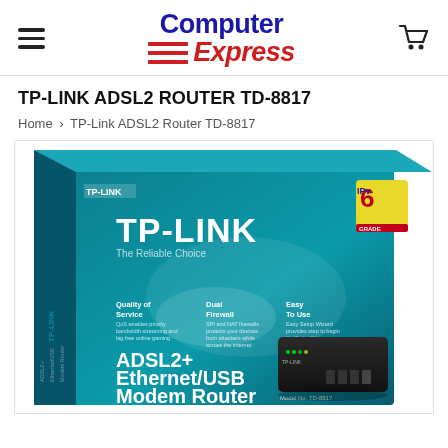[Figure (logo): Computer Express store logo with blue 'Computer' text and red italic 'Express' text with red horizontal stripes flag icon]
TP-LINK ADSL2 ROUTER TD-8817
Home › TP-Link ADSL2 Router TD-8817
[Figure (photo): Product box photo of TP-Link ADSL2+ Ethernet/USB Modem Router TD-8817. Teal/black box showing the black router device, TP-LINK branding, 'The Reliable Choice', features: Quality of Service, Dual Firewall, Easy To Use. Model No. TD-8817. IPv6 Grade badge.]